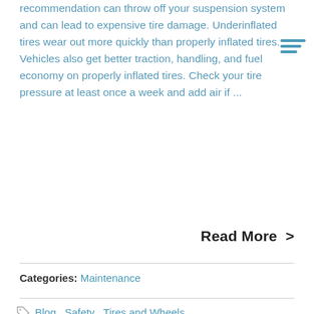recommendation can throw off your suspension system and can lead to expensive tire damage. Underinflated tires wear out more quickly than properly inflated tires. Vehicles also get better traction, handling, and fuel economy on properly inflated tires. Check your tire pressure at least once a week and add air if ...
Read More >
Categories: Maintenance
Blog , Safety , Tires and Wheels
E-85 FUEL SAFETY ADVICE
POSTED ON THURSDAY